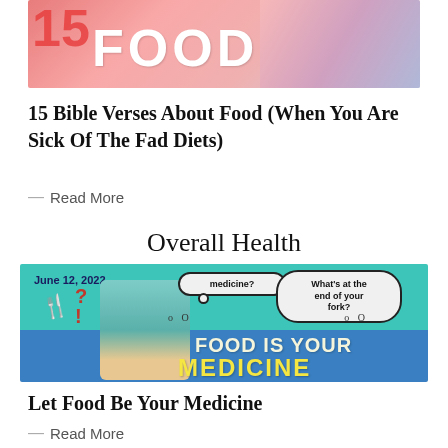[Figure (photo): Banner image with '15 FOOD' text overlay in red/white on pink gradient background with person in red pants]
15 Bible Verses About Food (When You Are Sick Of The Fad Diets)
— Read More
Overall Health
[Figure (infographic): Promotional banner for 'Food Is Your Medicine' dated June 12, 2022, teal and blue background with person, fork, thought bubbles saying 'medicine?' and 'What's at the end of your fork?', bottom text 'FOOD IS YOUR MEDICINE']
Let Food Be Your Medicine
— Read More